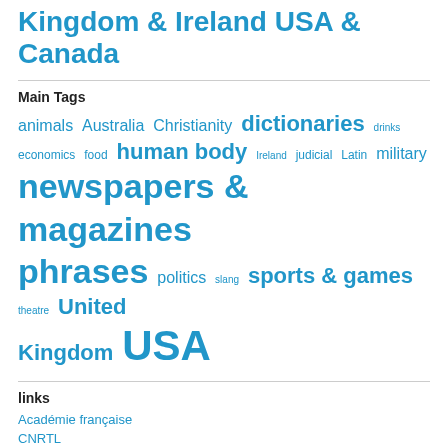Kingdom & Ireland USA & Canada
Main Tags
animals Australia Christianity dictionaries drinks economics food human body Ireland judicial Latin military newspapers & magazines phrases politics slang sports & games theatre United Kingdom USA
links
Académie française
CNRTL